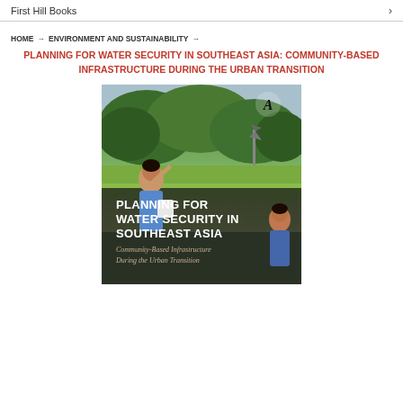First Hill Books →
HOME → ENVIRONMENT AND SUSTAINABILITY →
PLANNING FOR WATER SECURITY IN SOUTHEAST ASIA: COMMUNITY-BASED INFRASTRUCTURE DURING THE URBAN TRANSITION
[Figure (photo): Book cover showing two girls near water in a rural Southeast Asian landscape with green trees and rice fields in the background. White bold text reads PLANNING FOR WATER SECURITY IN SOUTHEAST ASIA, with subtitle Community-Based Infrastructure During the Urban Transition. Anthem Press logo in top right corner.]